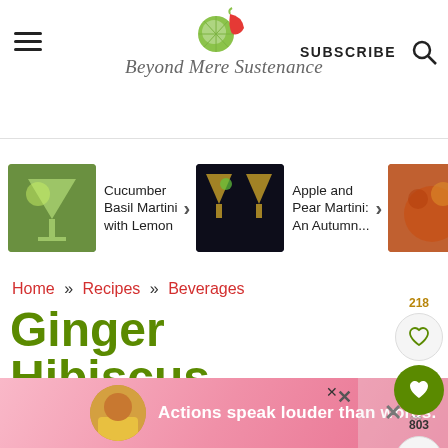Beyond Mere Sustenance — SUBSCRIBE
[Figure (photo): Three related article thumbnails: Cucumber Basil Martini with Lemon, Apple and Pear Martini: An Autumn..., and a partially visible drink image]
Cucumber Basil Martini with Lemon
Apple and Pear Martini: An Autumn...
Do Bli Gi
Home » Recipes » Beverages
Ginger Hibiscus Martini or Mocktail
Published: Apr 27, 2018 · Last Modified...
[Figure (infographic): Advertisement banner: Actions speak louder than words.]